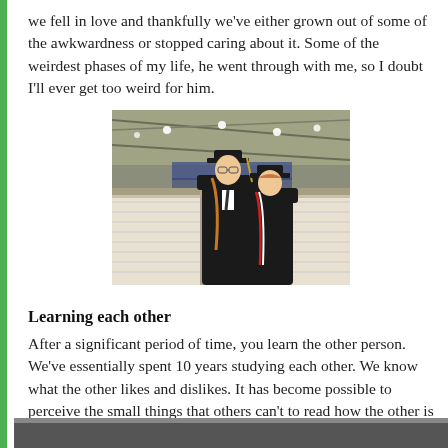we fell in love and thankfully we've either grown out of some of the awkwardness or stopped caring about it. Some of the weirdest phases of my life, he went through with me, so I doubt I'll ever get too weird for him.
[Figure (photo): Two people in black graduation gowns and caps standing in a gymnasium/arena with rows of white chairs on either side. The man on the left is taller and wearing glasses. The woman on the right is shorter with reddish hair and honor cords.]
Learning each other
After a significant period of time, you learn the other person. We've essentially spent 10 years studying each other. We know what the other likes and dislikes. It has become possible to perceive the small things that others can't to read how the other is feeling.
[Figure (photo): Partially visible photo at the bottom of the page, showing a cropped image.]